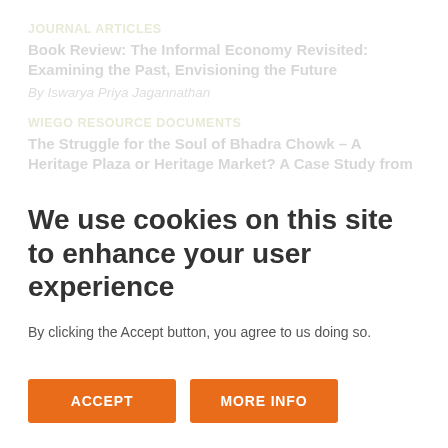JOURNAL ARTICLES
Book Review: The Informal Economy Revisited: Examining the Past, Envisioning the Future
By Iswarya Priya Jagannathan
WIEGO RESOURCE DOCUMENTS
The Struggle for the Soul of Bhadra Chowk – A Heritage Plaza or Heritage Market? A Case Study from Ahmedabad,
We use cookies on this site to enhance your user experience
By clicking the Accept button, you agree to us doing so.
ACCEPT
MORE INFO